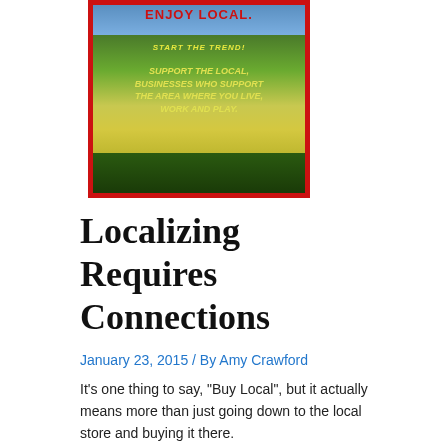[Figure (illustration): A poster image with a red border showing a rural farm scene with yellow flowering fields. Text reads 'Enjoy Local.' at top in red, 'Start the Trend!' in yellow italic, and 'Support the local businesses who support the area where you live, work and play.' in yellow italic text over a green field background.]
Localizing Requires Connections
January 23, 2015 / By Amy Crawford
It’s one thing to say, “Buy Local”, but it actually means more than just going down to the local store and buying it there.
Of course, the preference is to support local businesses because that keeps local people employed, ya da, ya da.
BUT… think about the
[Figure (other): Partial image visible at bottom right, appears to be a light gray rectangle (image loading or cut off).]